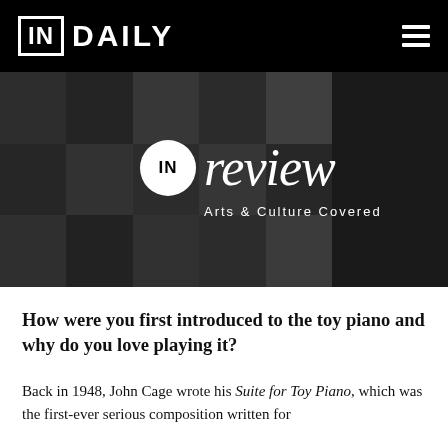IN DAILY
[Figure (photo): IN review Arts & Culture Covered banner with a collage grid of black-and-white headshot photos of various people]
How were you first introduced to the toy piano and why do you love playing it?
Back in 1948, John Cage wrote his Suite for Toy Piano, which was the first-ever serious composition written for